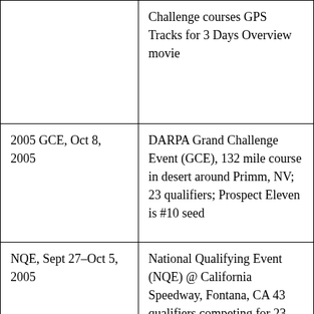|  | Challenge courses GPS Tracks for 3 Days Overview movie |
| 2005 GCE, Oct 8, 2005 | DARPA Grand Challenge Event (GCE), 132 mile course in desert around Primm, NV; 23 qualifiers; Prospect Eleven is #10 seed |
| NQE, Sept 27–Oct 5, 2005 | National Qualifying Event (NQE) @ California Speedway, Fontana, CA 43 qualifiers competing for 23 spots in GCE on 2.2 mile course |